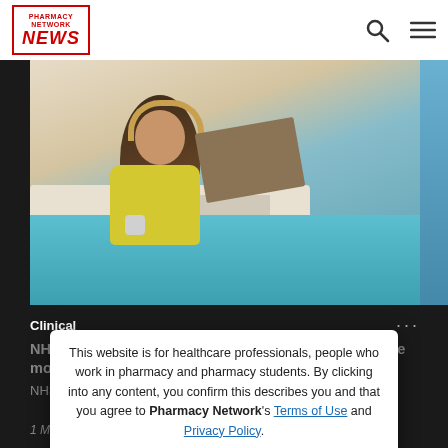PHARMACY NETWORK NEWS
[Figure (photo): Young woman with headphones lying on a teal-sheeted bed, writing in a book/tablet, wearing a CGM sensor patch on her upper arm]
Clinical
NHS England to offer all T1D patients no-scan glucose monitors
NHS England to roll out devices to all Type 1 Diabetes patients
1 Min Article
This website is for healthcare professionals, people who work in pharmacy and pharmacy students. By clicking into any content, you confirm this describes you and that you agree to Pharmacy Network's Terms of Use and Privacy Policy.